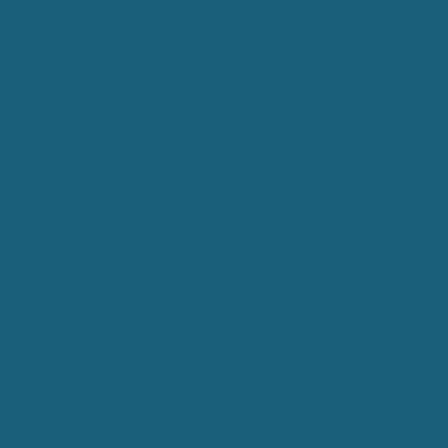| Parameter | Default | Description |
| --- | --- | --- |
| payload-length |  | Le... pa... (h... sa... the... |
| buffer-length |  | Sa... pa... le... fo... re... |
| ssl | N/A | In... ha... wi... se... |
Arguments
help (NRPEClient, nrpe_exec)
Show help screen...